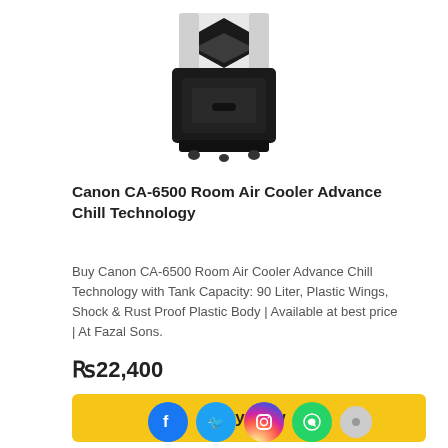[Figure (photo): Black and white Canon CA-6500 room air cooler with plastic wings, shown from above-front angle]
Canon CA-6500 Room Air Cooler Advance Chill Technology
Buy Canon CA-6500 Room Air Cooler Advance Chill Technology with Tank Capacity: 90 Liter, Plastic Wings, Shock & Rust Proof Plastic Body | Available at best price | At Fazal Sons.
₨22,400
Buy Now
Add to wishlist